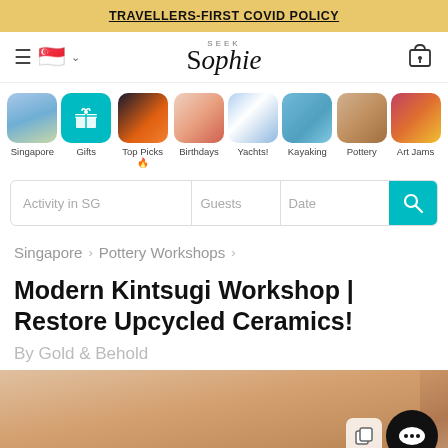TRAVELLERS-FIRST COVID POLICY
[Figure (screenshot): Seek Sophie website navigation bar with hamburger menu, Singapore flag, and logo]
[Figure (screenshot): Category icons row: Singapore, Gifts, Top Picks, Birthdays, Yachts!, Kayaking, Pottery, Art Jams]
[Figure (screenshot): Search bar with Activity in SG, Guests, Date fields and teal search button]
Singapore > Pottery Workshops >
Modern Kintsugi Workshop | Restore Upcycled Ceramics!
By Gold & Behold
[Figure (photo): Close-up photo of a woman's face with nose piercing and earrings, bottom portion visible]